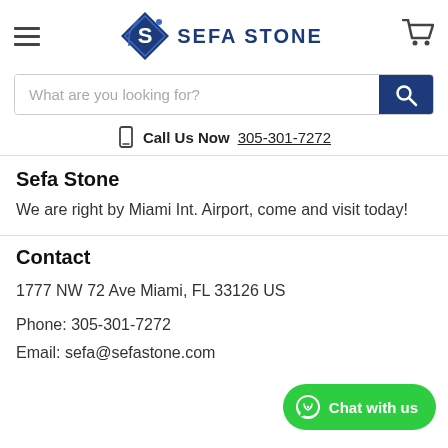[Figure (logo): Sefa Stone logo with diamond-shaped icon containing letter S and company name SEFA STONE in bold dark blue text]
What are you looking for?
Call Us Now 305-301-7272
Sefa Stone
We are right by Miami Int. Airport, come and visit today!
Contact
1777 NW 72 Ave Miami, FL 33126 US
Phone: 305-301-7272
Email: sefa@sefastone.com